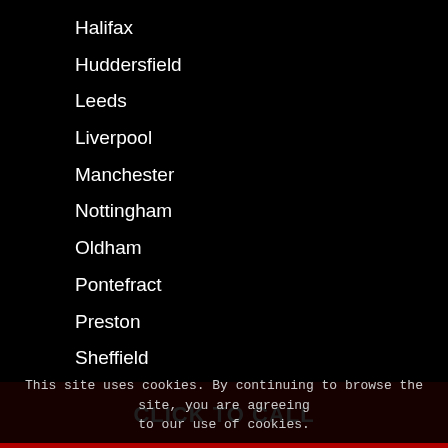Halifax
Huddersfield
Leeds
Liverpool
Manchester
Nottingham
Oldham
Pontefract
Preston
Sheffield
Skipton
Wakefield
This site uses cookies. By continuing to browse the site, you are agreeing to our use of cookies.
CLICK TO CALL